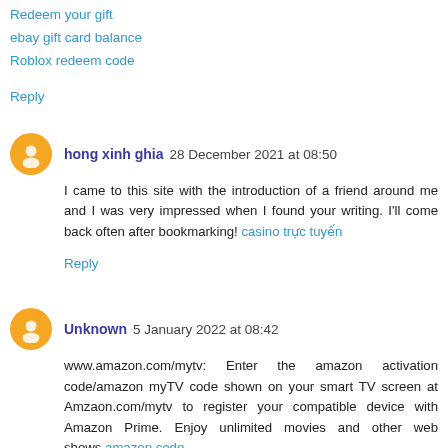Redeem your gift
ebay gift card balance
Roblox redeem code
Reply
hong xinh ghia  28 December 2021 at 08:50
I came to this site with the introduction of a friend around me and I was very impressed when I found your writing. I'll come back often after bookmarking! casino trực tuyến
Reply
Unknown  5 January 2022 at 08:42
www.amazon.com/mytv: Enter the amazon activation code/amazon myTV code shown on your smart TV screen at Amzaon.com/mytv to register your compatible device with Amazon Prime. Enjoy unlimited movies and other web shows.amazon code
target gift card balance
Target gift card balance